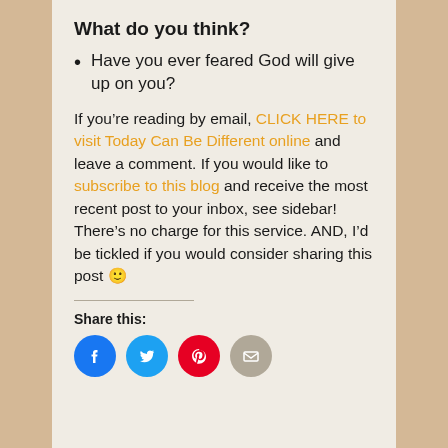What do you think?
Have you ever feared God will give up on you?
If you're reading by email, CLICK HERE to visit Today Can Be Different online and leave a comment. If you would like to subscribe to this blog and receive the most recent post to your inbox, see sidebar! There's no charge for this service. AND, I'd be tickled if you would consider sharing this post 🙂
Share this:
[Figure (infographic): Four social share icon buttons: Facebook (blue circle), Twitter (light blue circle), Pinterest (red circle), Email (gray circle)]